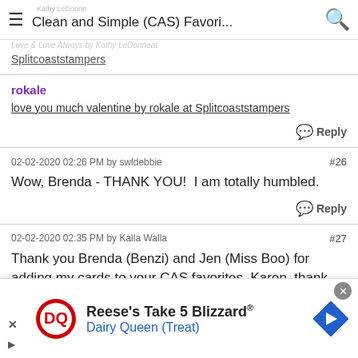Clean and Simple (CAS) Favori...
Splitcoaststampers
rokale
love you much valentine by rokale at Splitcoaststampers
Reply
02-02-2020 02:26 PM by swldebbie  #26
Wow, Brenda - THANK YOU!  I am totally humbled.
Reply
02-02-2020 02:35 PM by Kalla Walla  #27
Thank you Brenda (Benzi) and Jen (Miss Boo) for adding my cards to your CAS favorites. Karen, thank you for the
[Figure (infographic): Dairy Queen advertisement banner: Reese's Take 5 Blizzard - Dairy Queen (Treat) with DQ logo and navigation arrow icon]